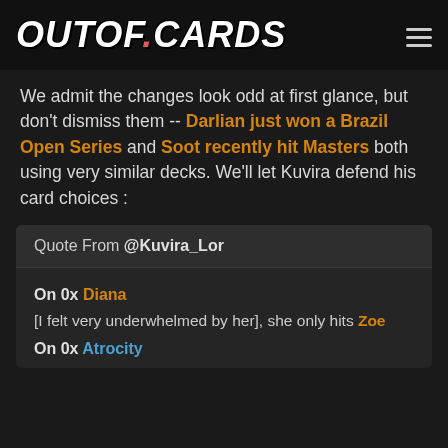OUTOF.CARDS
We admit the changes look odd at first glance, but don't dismiss them -- Darlian just won a Brazil Open Series and Soot recently hit Masters both using very similar decks. We'll let Kuvira defend his card choices :
Quote From @Kuvira_Lor
On 0x Diana
[I felt very underwhelmed by her], she only hits Zoe
On 0x Atrocity